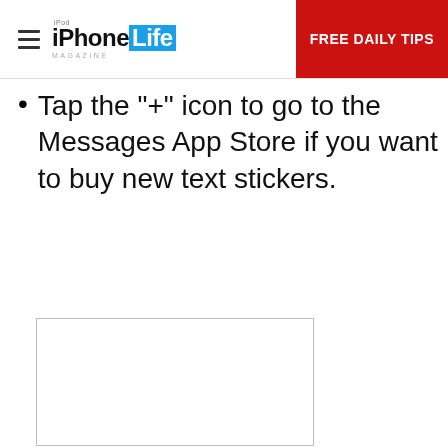iPhone Life Magazine — FREE DAILY TIPS
Tap the "+" icon to go to the Messages App Store if you want to buy new text stickers.
[Figure (other): A blank white rectangular image placeholder with a light gray border]